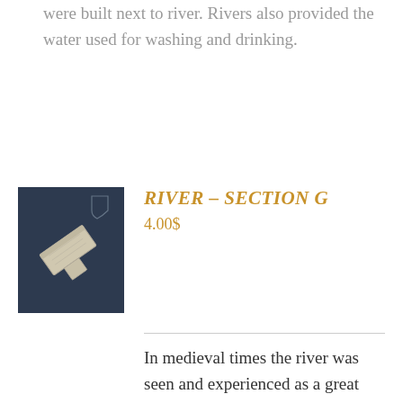were built next to river. Rivers also provided the water used for washing and drinking.
[Figure (photo): Product image of a river section game tile on a dark navy blue background with a white heraldic shield icon. The tile shows a light-colored river section piece.]
River – Section G
4.00$
In medieval times the river was seen and experienced as a great flow of energy moving slowly and inexorably trough landscape. It was a flow of